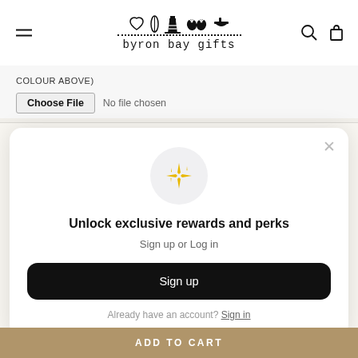[Figure (logo): Byron Bay Gifts logo with icons (heart, surfboard, lighthouse, flip flops, mortar) and dotted line, text 'byron bay gifts' below]
COLOUR ABOVE)
Choose File  No file chosen
[Figure (screenshot): Modal popup with sparkle icon, heading 'Unlock exclusive rewards and perks', subtext 'Sign up or Log in', a black Sign up button, and 'Already have an account? Sign in' link]
ADD TO CART